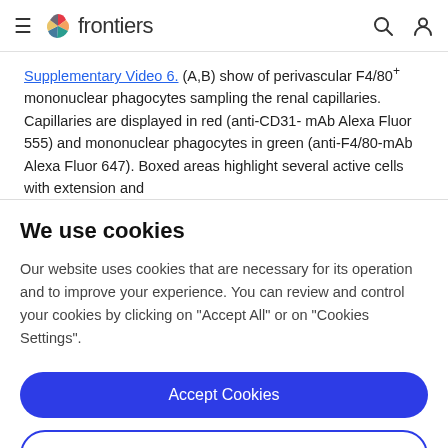frontiers
Supplementary Video 6. (A,B) show of perivascular F4/80+ mononuclear phagocytes sampling the renal capillaries. Capillaries are displayed in red (anti-CD31-mAb Alexa Fluor 555) and mononuclear phagocytes in green (anti-F4/80-mAb Alexa Fluor 647). Boxed areas highlight several active cells with extension and
We use cookies
Our website uses cookies that are necessary for its operation and to improve your experience. You can review and control your cookies by clicking on "Accept All" or on "Cookies Settings".
Accept Cookies
Cookies Settings